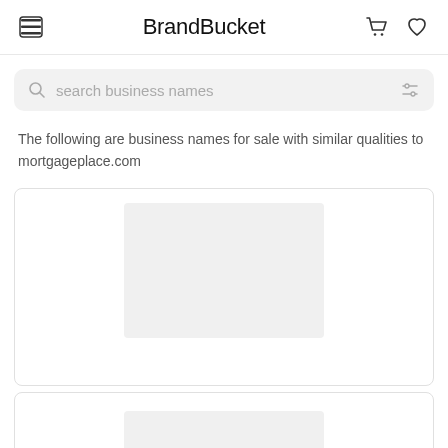BrandBucket
search business names
The following are business names for sale with similar qualities to mortgageplace.com
[Figure (screenshot): Card with a gray placeholder image block for a business name listing]
[Figure (screenshot): Second card with a gray placeholder image block, partially visible at the bottom]